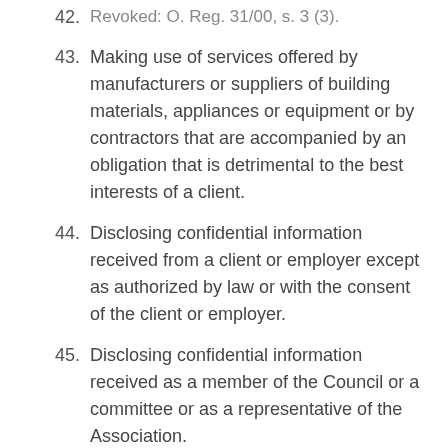42. Revoked: O. Reg. 31/00, s. 3 (3).
43. Making use of services offered by manufacturers or suppliers of building materials, appliances or equipment or by contractors that are accompanied by an obligation that is detrimental to the best interests of a client.
44. Disclosing confidential information received from a client or employer except as authorized by law or with the consent of the client or employer.
45. Disclosing confidential information received as a member of the Council or a committee or as a representative of the Association.